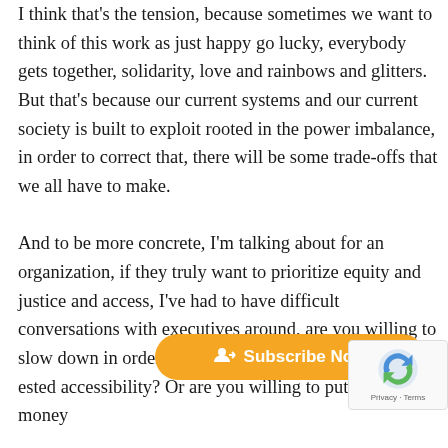I think that's the tension, because sometimes we want to think of this work as just happy go lucky, everybody gets together, solidarity, love and rainbows and glitters. But that's because our current systems and our current society is built to exploit rooted in the power imbalance, in order to correct that, there will be some trade-offs that we all have to make.

And to be more concrete, I'm talking about for an organization, if they truly want to prioritize equity and justice and access, I've had to have difficult conversations with executives around, are you willing to slow down in order for you to create more access... ested accessibility? Or are you willing to put more money